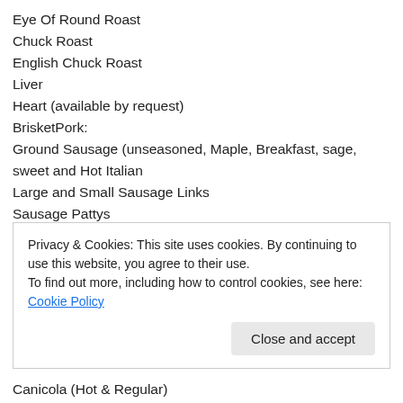Eye Of Round Roast
Chuck Roast
English Chuck Roast
Liver
Heart (available by request)
BrisketPork:
Ground Sausage (unseasoned, Maple, Breakfast, sage, sweet and Hot Italian
Large and Small Sausage Links
Sausage Pattys
Ham Slices
Whole hams (Available by request)
Privacy & Cookies: This site uses cookies. By continuing to use this website, you agree to their use.
To find out more, including how to control cookies, see here: Cookie Policy
Canicola (Hot & Regular)